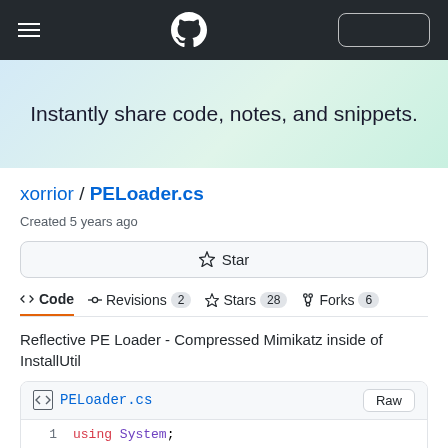GitHub navigation bar with hamburger menu, GitHub logo, and sign-in button
Instantly share code, notes, and snippets.
xorrior / PELoader.cs
Created 5 years ago
☆ Star
<> Code   -o- Revisions 2   ☆Stars 28   Forks 6
Reflective PE Loader - Compressed Mimikatz inside of InstallUtil
PELoader.cs   Raw
1   using System;
2   using System.IO;